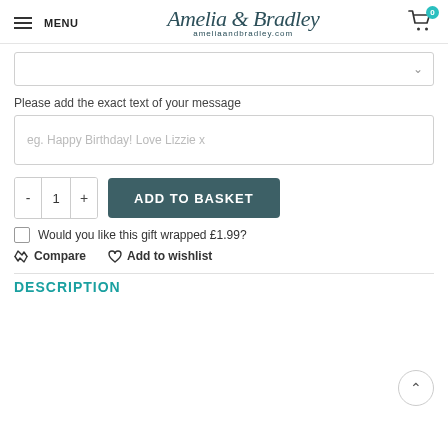MENU | Amelia & Bradley ameliaandbradley.com | Cart 0
Please add the exact text of your message
eg. Happy Birthday! Love Lizzie x
ADD TO BASKET
Would you like this gift wrapped £1.99?
Compare   Add to wishlist
DESCRIPTION